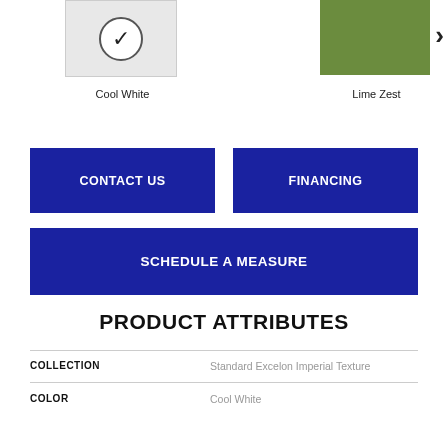[Figure (photo): Cool White flooring swatch with checkmark circle overlay]
[Figure (photo): Lime Zest green flooring swatch]
Cool White
Lime Zest
CONTACT US
FINANCING
SCHEDULE A MEASURE
PRODUCT ATTRIBUTES
| COLLECTION | Standard Excelon Imperial Texture |
| COLOR | Cool White |